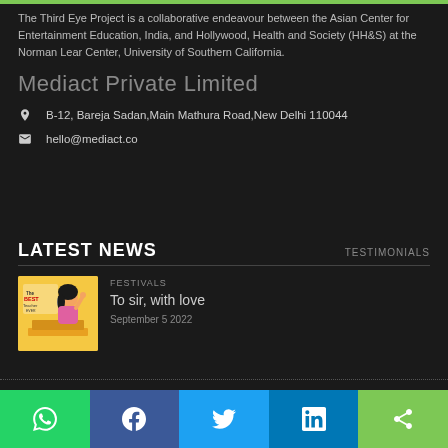The Third Eye Project is a collaborative endeavour between the Asian Center for Entertainment Education, India, and Hollywood, Health and Society (HH&S) at the Norman Lear Center, University of Southern California.
Mediact Private Limited
B-12, Bareja Sadan,Main Mathura Road,New Delhi 110044
hello@mediact.co
LATEST NEWS
TESTIMONIALS
FESTIVALS
To sir, with love
September 5 2022
WhatsApp | Facebook | Twitter | LinkedIn | Share